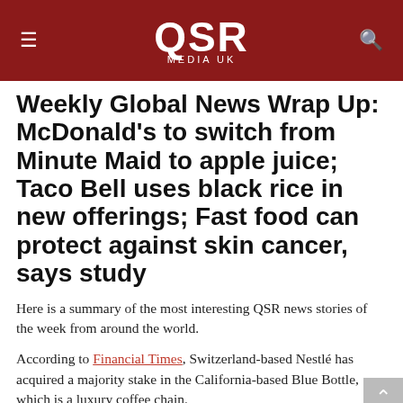QSR MEDIA UK
Weekly Global News Wrap Up: McDonald's to switch from Minute Maid to apple juice; Taco Bell uses black rice in new offerings; Fast food can protect against skin cancer, says study
Here is a summary of the most interesting QSR news stories of the week from around the world.
According to Financial Times, Switzerland-based Nestlé has acquired a majority stake in the California-based Blue Bottle, which is a luxury coffee chain.